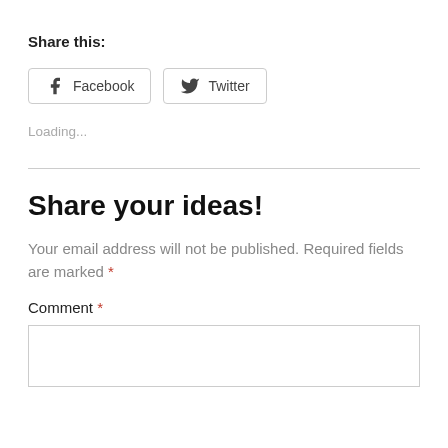Share this:
[Figure (other): Social sharing buttons: Facebook and Twitter]
Loading...
Share your ideas!
Your email address will not be published. Required fields are marked *
Comment *